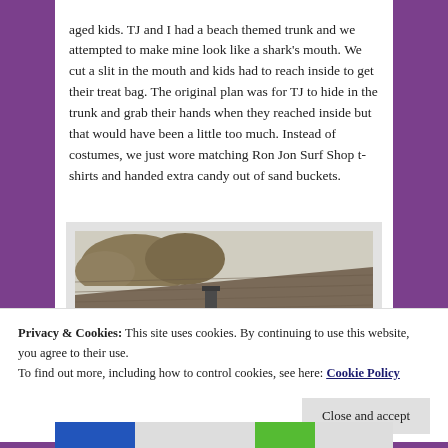aged kids. TJ and I had a beach themed trunk and we attempted to make mine look like a shark's mouth. We cut a slit in the mouth and kids had to reach inside to get their treat bag. The original plan was for TJ to hide in the trunk and grab their hands when they reached inside but that would have been a little too much. Instead of costumes, we just wore matching Ron Jon Surf Shop t-shirts and handed extra candy out of sand buckets.
[Figure (photo): Photo showing a rooftop with a chimney, trees visible in the background against a light sky.]
Privacy & Cookies: This site uses cookies. By continuing to use this website, you agree to their use.
To find out more, including how to control cookies, see here: Cookie Policy